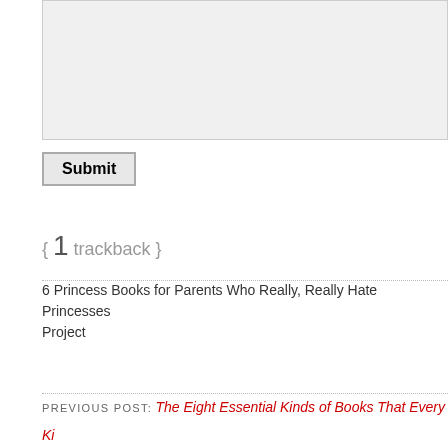[Figure (screenshot): Gray textarea input box, partially visible at top of page]
Submit
{ 1 trackback }
6 Princess Books for Parents Who Really, Really Hate Princesses Project
PREVIOUS POST: The Eight Essential Kinds of Books That Every Ki
NEXT POST: So You May Have Noticed The Blog Is a Little Out-of-